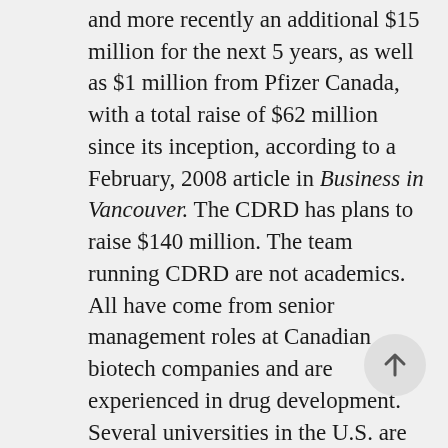and more recently an additional $15 million for the next 5 years, as well as $1 million from Pfizer Canada, with a total raise of $62 million since its inception, according to a February, 2008 article in Business in Vancouver. The CDRD has plans to raise $140 million. The team running CDRD are not academics. All have come from senior management roles at Canadian biotech companies and are experienced in drug development. Several universities in the U.S. are considering such activity (under the label of “translational research”) including the University of Illinois, but few have actually put it into place. Finally, a pleasant surprise in the trip was finding out that the Dean of UBC’s Faculty of Pharmaceutical Sciences, Dr. Robert Sindelar, is a native Chicagoan (and an active supporter of BCLSA), and keenly